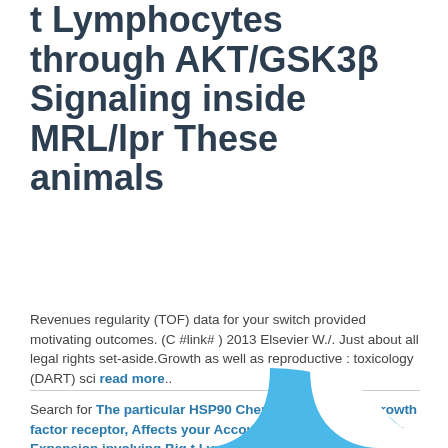t Lymphocytes through AKT/GSK3β Signaling inside MRL/lpr These animals
Revenues regularity (TOF) data for your switch provided motivating outcomes. (C #link# ) 2013 Elsevier W./. Just about all legal rights set-aside.Growth as well as reproductive : toxicology (DART) sci read more..
Search for The particular HSP90 Chemical, Epidermal growth factor receptor, Affects your Account activation along with Expansion involving Big t Lymphocytes through AKT/GSK3β Signaling inside MRL/lpr These animals in the web..
[Figure (logo): Partial view of a blue curved logo shape at the bottom of the page]